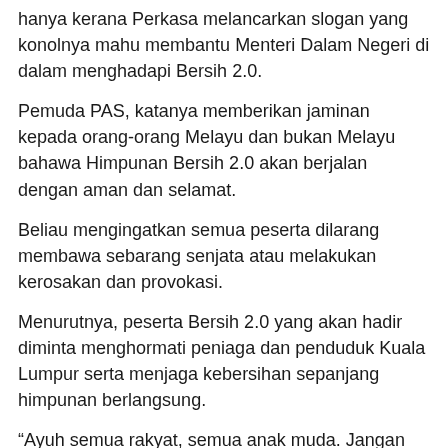hanya kerana Perkasa melancarkan slogan yang konolnya mahu membantu Menteri Dalam Negeri di dalam menghadapi Bersih 2.0.
Pemuda PAS, katanya memberikan jaminan kepada orang-orang Melayu dan bukan Melayu bahawa Himpunan Bersih 2.0 akan berjalan dengan aman dan selamat.
Beliau mengingatkan semua peserta dilarang membawa sebarang senjata atau melakukan kerosakan dan provokasi.
Menurutnya, peserta Bersih 2.0 yang akan hadir diminta menghormati peniaga dan penduduk Kuala Lumpur serta menjaga kebersihan sepanjang himpunan berlangsung.
“Ayuh semua rakyat, semua anak muda. Jangan hirau, jangan takut pada pelampau Perkasa.
“Tunjukan kuasa rakyat, bersama kita perkukuhkan desakan rakyat untuk memastikan Pilihanraya Bersih dan Adil dilaksanakan di negara ini,” katanya.